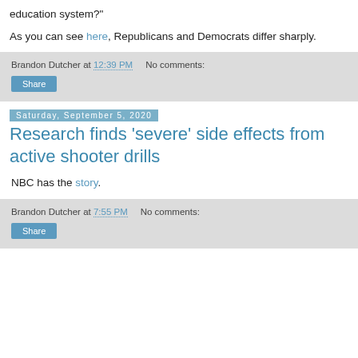education system?"
As you can see here, Republicans and Democrats differ sharply.
Brandon Dutcher at 12:39 PM   No comments:
Share
Saturday, September 5, 2020
Research finds 'severe' side effects from active shooter drills
NBC has the story.
Brandon Dutcher at 7:55 PM   No comments:
Share